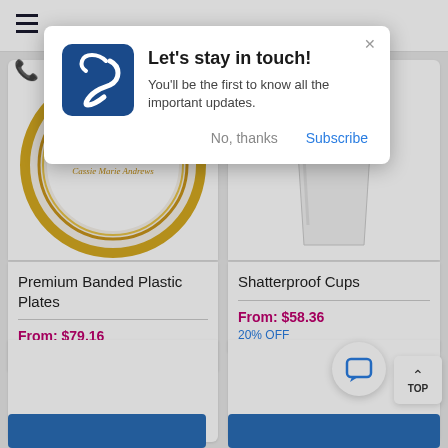[Figure (screenshot): Website popup notification dialog with logo, title 'Let’s stay in touch!', subtitle text, and two buttons: 'No, thanks' and 'Subscribe']
Let’s stay in touch!
You’ll be the first to know all the important updates.
No, thanks
Subscribe
[Figure (photo): Premium Banded Plastic Plate with gold rim and 'Cassie Marie Andrews' personalization]
Premium Banded Plastic Plates
From: $79.16
20% OFF
[Figure (photo): Shatterproof Cup with navy ribbon/diploma decoration and 'Cassie Marie Andrews' personalization]
Shatterproof Cups
From: $58.36
20% OFF